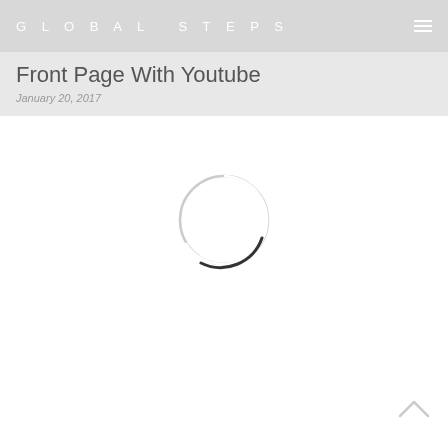GLOBAL STEPS
Front Page With Youtube
January 20, 2017
[Figure (other): Loading spinner: a large circle outline with a dark arc at the bottom-right, indicating a loading/spinning animation state.]
[Figure (other): Back-to-top arrow chevron pointing upward, located at the bottom-right corner of the page.]